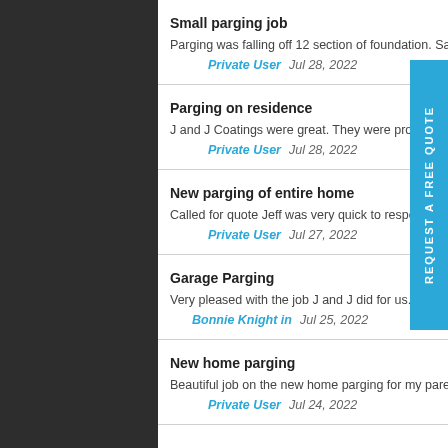Small parging job
Parging was falling off 12 section of foundation. Saw J &J
Private User   Jul 28, 2022
Parging on residence
J and J Coatings were great. They were prompt, knowled
Private User   Jul 28, 2022
New parging of entire home
Called for quote Jeff was very quick to respond come out
Private User   Jul 27, 2022
Garage Parging
Very pleased with the job J and J did for us. Great people
Bonnie Knight in   Jul 25, 2022
New home parging
Beautiful job on the new home parging for my parents. Th
Private User   Jul 24, 2022
Read more reviews
Write
REQUEST A FREE QUOTE